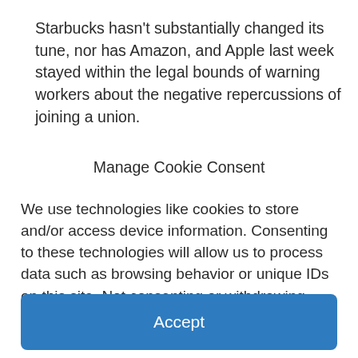Starbucks hasn't substantially changed its tune, nor has Amazon, and Apple last week stayed within the legal bounds of warning workers about the negative repercussions of joining a union.
Manage Cookie Consent
We use technologies like cookies to store and/or access device information. Consenting to these technologies will allow us to process data such as browsing behavior or unique IDs on this site. Not consenting or withdrawing consent, may adversely affect certain features and functions.
Accept
Cookie Policy